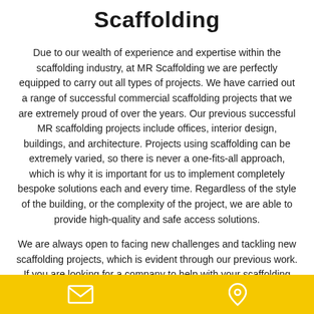Scaffolding
Due to our wealth of experience and expertise within the scaffolding industry, at MR Scaffolding we are perfectly equipped to carry out all types of projects. We have carried out a range of successful commercial scaffolding projects that we are extremely proud of over the years. Our previous successful MR scaffolding projects include offices, interior design, buildings, and architecture. Projects using scaffolding can be extremely varied, so there is never a one-fits-all approach, which is why it is important for us to implement completely bespoke solutions each and every time. Regardless of the style of the building, or the complexity of the project, we are able to provide high-quality and safe access solutions.
We are always open to facing new challenges and tackling new scaffolding projects, which is evident through our previous work. If you are looking for a company to help with your scaffolding project, or if you have any queries regarding any of our commercial scaffolding projects shown below, get in touch. Call us on 020 7252
[Figure (other): Yellow footer bar with email and location icons]